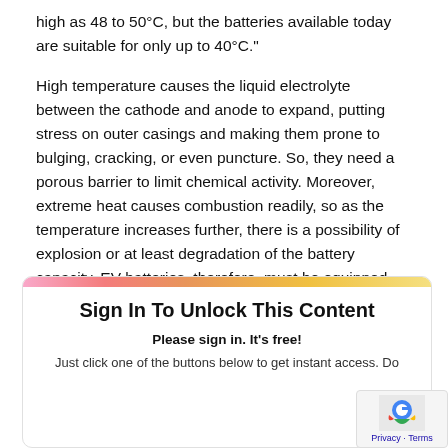high as 48 to 50°C, but the batteries available today are suitable for only up to 40°C."
High temperature causes the liquid electrolyte between the cathode and anode to expand, putting stress on outer casings and making them prone to bulging, cracking, or even puncture. So, they need a porous barrier to limit chemical activity. Moreover, extreme heat causes combustion readily, so as the temperature increases further, there is a possibility of explosion or at least degradation of the battery capacity. EV batteries, therefore, must be equipped with cooling systems, which makes them more expensive.
Sign In To Unlock This Content
Please sign in. It's free!
Just click one of the buttons below to get instant access. Do